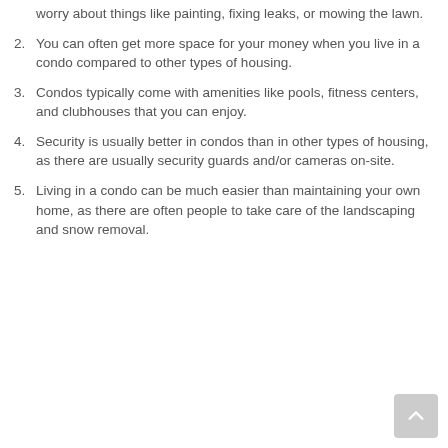worry about things like painting, fixing leaks, or mowing the lawn.
You can often get more space for your money when you live in a condo compared to other types of housing.
Condos typically come with amenities like pools, fitness centers, and clubhouses that you can enjoy.
Security is usually better in condos than in other types of housing, as there are usually security guards and/or cameras on-site.
Living in a condo can be much easier than maintaining your own home, as there are often people to take care of the landscaping and snow removal.